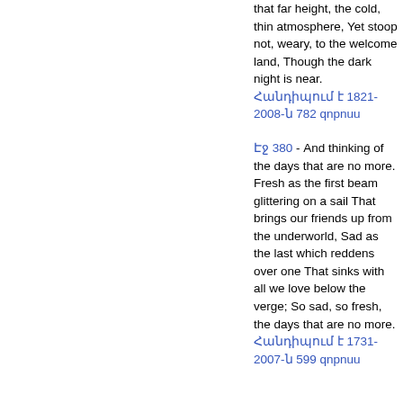that far height, the cold, thin atmosphere, Yet stoop not, weary, to the welcome land, Though the dark night is near. Հանդիպում է 1821-2008-ն 782 qnpnuu
Էջ 380 - And thinking of the days that are no more. Fresh as the first beam glittering on a sail That brings our friends up from the underworld, Sad as the last which reddens over one That sinks with all we love below the verge; So sad, so fresh, the days that are no more. Հանդիպում է 1731-2007-ն 599 qnpnuu